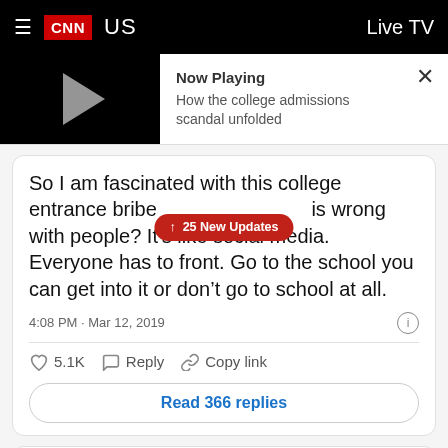CNN US  Live TV
[Figure (screenshot): CNN video player thumbnail showing a play button on black background. Now Playing: How the college admissions scandal unfolded. Close (X) button.]
So I am fascinated with this college entrance bribe... is wrong with people? It's like social media. Everyone has to front. Go to the school you can get into it or don't go to school at all.
25 New Updates
4:08 PM · Mar 12, 2019
♡ 5.1K  Reply  Copy link
Read 366 replies
Nancy Lee Grahn  @NancyLeeGrahn  Follow